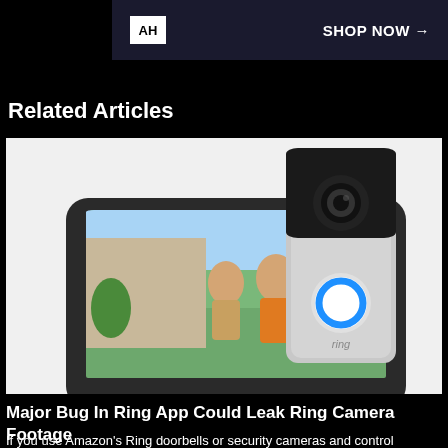[Figure (screenshot): Ad banner with AH logo and SHOP NOW arrow on dark background]
Related Articles
[Figure (photo): Ring video doorbell and Amazon Echo Show device displaying a couple at the front door on its screen]
Major Bug In Ring App Could Leak Ring Camera Footage
If you use Amazon's Ring doorbells or security cameras and control